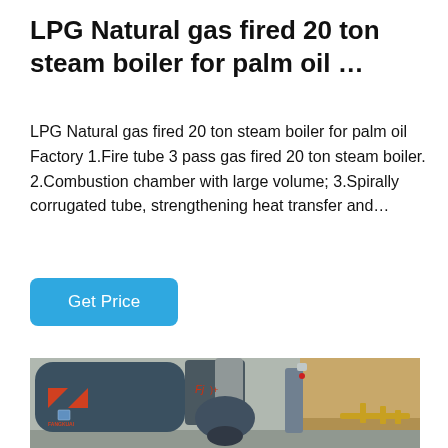LPG Natural gas fired 20 ton steam boiler for palm oil …
LPG Natural gas fired 20 ton steam boiler for palm oil Factory 1.Fire tube 3 pass gas fired 20 ton steam boiler. 2.Combustion chamber with large volume; 3.Spirally corrugated tube, strengthening heat transfer and…
Get Price
[Figure (photo): Industrial steam boilers in a factory setting. Two large dark blue/grey cylindrical boilers with FANGKUAI branding visible, along with associated equipment and piping. Background shows a wooden panel wall.]